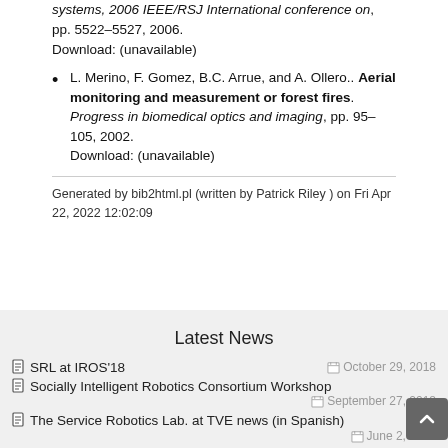L. Merino, F. Gomez, B.C. Arrue, and A. Ollero.. Aerial monitoring and measurement or forest fires. Progress in biomedical optics and imaging, pp. 95–105, 2002.
Download: (unavailable)
Generated by bib2html.pl (written by Patrick Riley ) on Fri Apr 22, 2022 12:02:09
Latest News
SRL at IROS'18  October 29, 2018
Socially Intelligent Robotics Consortium Workshop  September 27, 2018
The Service Robotics Lab. at TVE news (in Spanish)  June 2, 2018